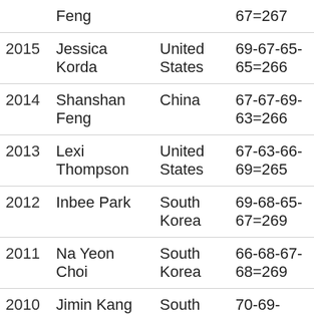| Year | Player | Country | Score |  |
| --- | --- | --- | --- | --- |
|  | Feng |  | 67=267 |  |
| 2015 | Jessica Korda | United States | 69-67-65-65=266 | −1 |
| 2014 | Shanshan Feng | China | 67-67-69-63=266 | −1 |
| 2013 | Lexi Thompson | United States | 67-63-66-69=265 | −1 |
| 2012 | Inbee Park | South Korea | 69-68-65-67=269 | −1 |
| 2011 | Na Yeon Choi | South Korea | 66-68-67-68=269 | −1 |
| 2010 | Jimin Kang | South | 70-69- | −9 |